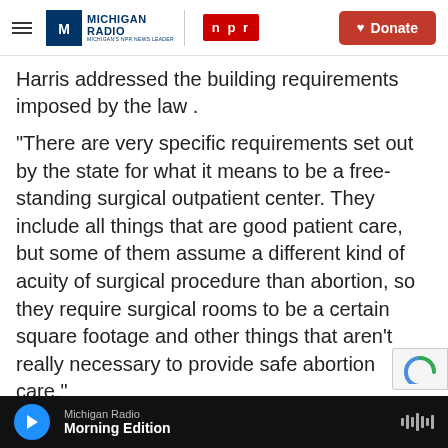Michigan Radio | NPR | Donate
Harris addressed the building requirements imposed by the law .
“There are very specific requirements set out by the state for what it means to be a free-standing surgical outpatient center. They include all things that are good patient care, but some of them assume a different kind of acuity of surgical procedure than abortion, so they require surgical rooms to be a certain square footage and other things that aren’t really necessary to provide safe abortion care.”
The screening process for those waiting to go
Michigan Radio | Morning Edition